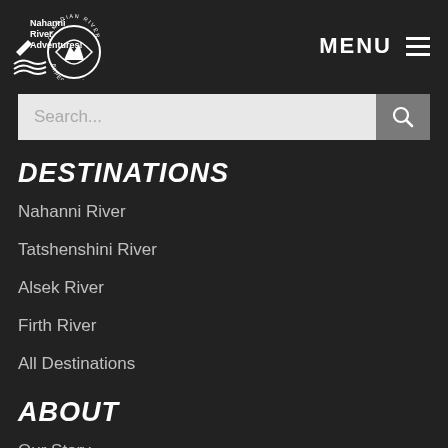[Figure (logo): Nahanni River Adventures logo (white canoe/waves icon with text) and Canadian River Expeditions circular badge logo, both white on dark background]
MENU
Search...
DESTINATIONS
Nahanni River
Tatshenshini River
Alsek River
Firth River
All Destinations
ABOUT
Our Story